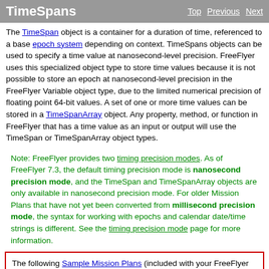TimeSpans — Top | Previous | Next
The TimeSpan object is a container for a duration of time, referenced to a base epoch system depending on context. TimeSpans objects can be used to specify a time value at nanosecond-level precision. FreeFlyer uses this specialized object type to store time values because it is not possible to store an epoch at nanosecond-level precision in the FreeFlyer Variable object type, due to the limited numerical precision of floating point 64-bit values. A set of one or more time values can be stored in a TimeSpanArray object. Any property, method, or function in FreeFlyer that has a time value as an input or output will use the TimeSpan or TimeSpanArray object types.
Note: FreeFlyer provides two timing precision modes. As of FreeFlyer 7.3, the default timing precision mode is nanosecond precision mode, and the TimeSpan and TimeSpanArray objects are only available in nanosecond precision mode. For older Mission Plans that have not yet been converted from millisecond precision mode, the syntax for working with epochs and calendar date/time strings is different. See the timing precision mode page for more information.
The following Sample Mission Plans (included with your FreeFlyer installation) demonstrate the use of TimeSpan objects:
FreeFlyer Scripting Samples
TimeSpans